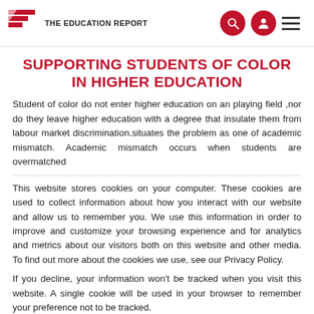The Education Report
SUPPORTING STUDENTS OF COLOR IN HIGHER EDUCATION
Student of color do not enter higher education on an playing field ,nor do they leave higher education with a degree that insulate them from labour market discrimination.situates the problem as one of academic mismatch. Academic mismatch occurs when students are overmatched
This website stores cookies on your computer. These cookies are used to collect information about how you interact with our website and allow us to remember you. We use this information in order to improve and customize your browsing experience and for analytics and metrics about our visitors both on this website and other media. To find out more about the cookies we use, see our Privacy Policy.
If you decline, your information won’t be tracked when you visit this website. A single cookie will be used in your browser to remember your preference not to be tracked.